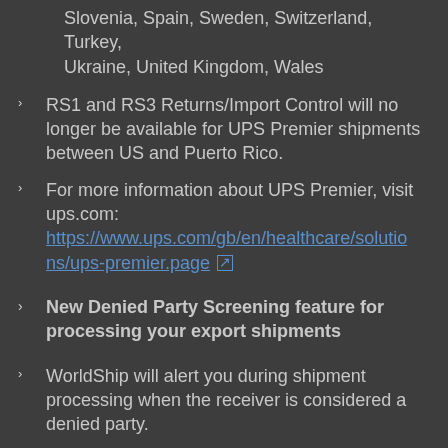Slovenia, Spain, Sweden, Switzerland, Turkey, Ukraine, United Kingdom, Wales
RS1 and RS3 Returns/Import Control will no longer be available for UPS Premier shipments between US and Puerto Rico.
For more information about UPS Premier, visit ups.com: https://www.ups.com/gb/en/healthcare/solutions/ups-premier.page
New Denied Party Screening feature for processing your export shipments
WorldShip will alert you during shipment processing when the receiver is considered a denied party.
Additional Category detail description for UPS...